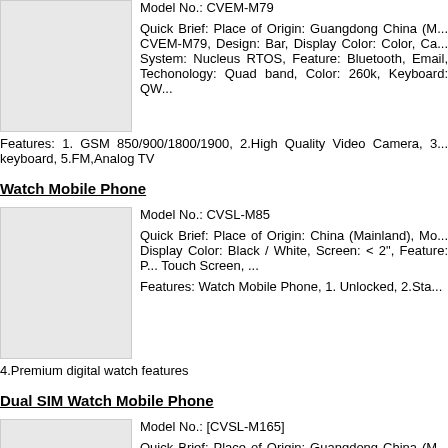Model No.: CVEM-M79
Quick Brief: Place of Origin: Guangdong China (Mainland), Model No.: CVEM-M79, Design: Bar, Display Color: Color, Camera: Camera, System: Nucleus RTOS, Feature: Bluetooth, Email, Techonology: Quad band, Color: 260k, Keyboard: QW...
Features: 1. GSM 850/900/1800/1900, 2.High Quality Video Camera, 3.... keyboard, 5.FM,Analog TV
Watch Mobile Phone
Model No.: CVSL-M85
Quick Brief: Place of Origin: China (Mainland), Mo... Display Color: Black / White, Screen: < 2", Feature: P... Touch Screen, ...
Features: Watch Mobile Phone, 1. Unlocked, 2.Sta... 4.Premium digital watch features
Dual SIM Watch Mobile Phone
Model No.: [CVSL-M165]
Quick Brief: Place of Origin: Guangdong China (M... [CVSL-M165], Design: Bar, Display Color: Color, Scre... Feature: Email, FM Radio, MP3 Playback, Touch S...